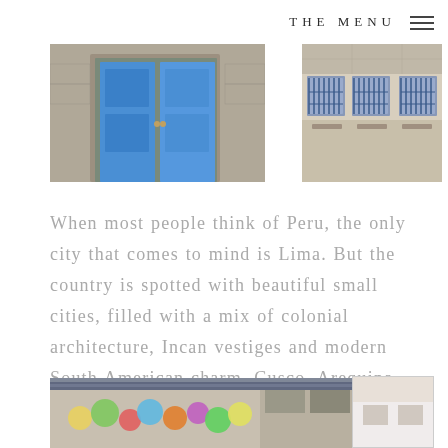THE MENU
[Figure (photo): Blue wooden door on a stone building facade]
[Figure (photo): Building facade with blue iron grill windows and light colored walls]
When most people think of Peru, the only city that comes to mind is Lima. But the country is spotted with beautiful small cities, filled with a mix of colonial architecture, Incan vestiges and modern South American charm. Cusco, Arequipa and Puno are among them.
[Figure (photo): Street scene with colorful balloons and market stalls]
[Figure (photo): Partial view of a building or scene, mostly white]